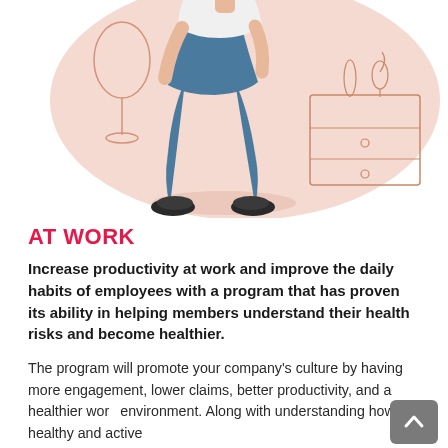[Figure (illustration): A person standing in a room wearing a white shirt and blue wide-leg trousers with black shoes. Behind them is a large pink/peach rounded shape background with a dresser and vases visible on the right side.]
AT WORK
Increase productivity at work and improve the daily habits of employees with a program that has proven its ability in helping members understand their health risks and become healthier.
The program will promote your company's culture by having more engagement, lower claims, better productivity, and a healthier work environment. Along with understanding how healthy and active